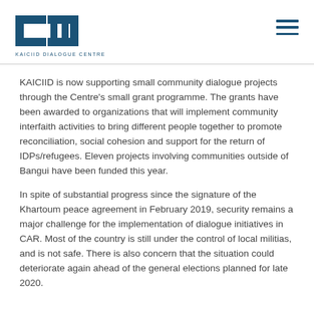KAICIID DIALOGUE CENTRE
KAICIID is now supporting small community dialogue projects through the Centre's small grant programme. The grants have been awarded to organizations that will implement community interfaith activities to bring different people together to promote reconciliation, social cohesion and support for the return of IDPs/refugees. Eleven projects involving communities outside of Bangui have been funded this year.
In spite of substantial progress since the signature of the Khartoum peace agreement in February 2019, security remains a major challenge for the implementation of dialogue initiatives in CAR. Most of the country is still under the control of local militias, and is not safe. There is also concern that the situation could deteriorate again ahead of the general elections planned for late 2020.